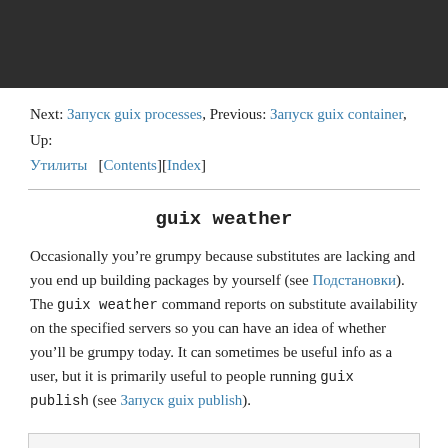[Figure (screenshot): Dark header bar at top of page]
Next: Запуск guix processes, Previous: Запуск guix container, Up: Утилиты   [Contents][Index]
guix weather
Occasionally you're grumpy because substitutes are lacking and you end up building packages by yourself (see Подстановки). The guix weather command reports on substitute availability on the specified servers so you can have an idea of whether you'll be grumpy today. It can sometimes be useful info as a user, but it is primarily useful to people running guix publish (see Запуск guix publish).
Here's a sample run: